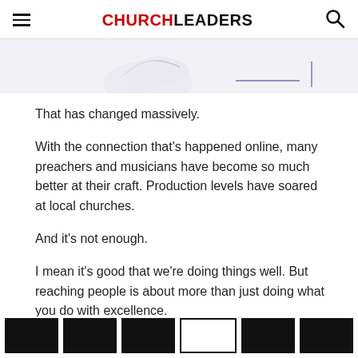CHURCHLEADERS
[Figure (illustration): Partial image at top of page showing hand-drawn or sketched content, partially cut off]
That has changed massively.
With the connection that's happened online, many preachers and musicians have become so much better at their craft. Production levels have soared at local churches.
And it's not enough.
I mean it's good that we're doing things well. But reaching people is about more than just doing what you do with excellence.
[Figure (other): Row of social sharing or navigation icon boxes at the bottom of the page, alternating black and white-bordered rectangles]